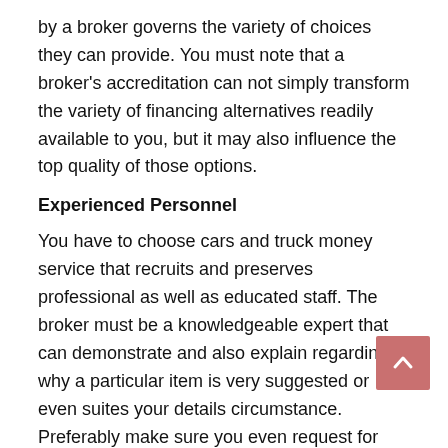by a broker governs the variety of choices they can provide. You must note that a broker's accreditation can not simply transform the variety of financing alternatives readily available to you, but it may also influence the top quality of those options.
Experienced Personnel
You have to choose cars and truck money service that recruits and preserves professional as well as educated staff. The broker must be a knowledgeable expert that can demonstrate and also explain regarding why a particular item is very suggested or even suites your details circumstance. Preferably make sure you even request for reviews from previous clients that in turn might assist you in the verification of their experience.
Solutions Offered